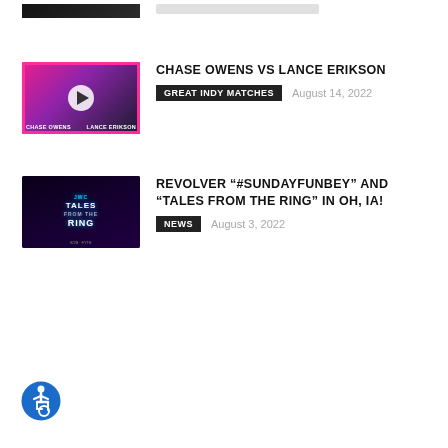[Figure (photo): Partially visible thumbnail at top of page, cropped]
CHASE OWENS VS LANCE ERIKSON
GREAT INDY MATCHES  August 14, 2022
[Figure (photo): Chase Owens vs Lance Erikson wrestling match thumbnail with play button, pink/purple border]
REVOLVER “#SUNDAYFUNBEY” AND “TALES FROM THE RING” IN OH, IA!
NEWS  August 3, 2022
[Figure (photo): Tales from the Ring event poster thumbnail, dark blue/purple with wrestlers]
[Figure (logo): Accessibility icon button, blue circle with wheelchair user symbol]